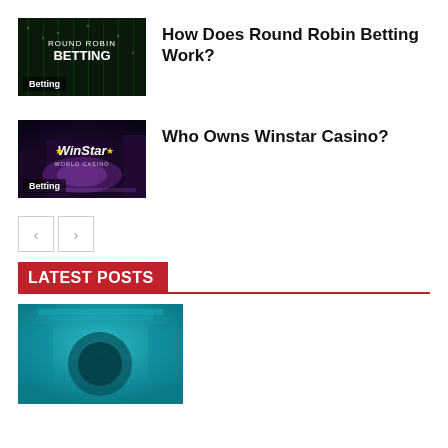[Figure (photo): Round Robin Betting thumbnail with dark matrix-style background and 'ROUND ROBIN BETTING' text, with 'Betting' badge]
How Does Round Robin Betting Work?
[Figure (photo): Winstar Casino exterior night photo with neon lights and WinStar World Casino logo, with 'Betting' badge]
Who Owns Winstar Casino?
LATEST POSTS
[Figure (photo): Teal/turquoise themed image with dark circular shapes, likely a casino or gaming related image]